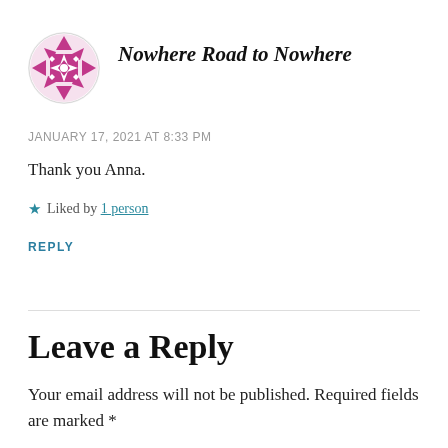[Figure (illustration): Circular avatar with magenta/purple geometric quilt-pattern design featuring star shapes and triangles]
Nowhere Road to Nowhere
JANUARY 17, 2021 AT 8:33 PM
Thank you Anna.
★ Liked by 1 person
REPLY
Leave a Reply
Your email address will not be published. Required fields are marked *